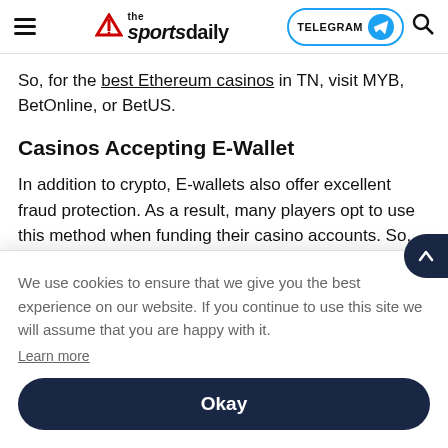the sportsdaily — TELEGRAM — search
So, for the best Ethereum casinos in TN, visit MYB, BetOnline, or BetUS.
Casinos Accepting E-Wallet
In addition to crypto, E-wallets also offer excellent fraud protection. As a result, many players opt to use this method when funding their casino accounts. So, many ca Pa ins pa as
We use cookies to ensure that we give you the best experience on our website. If you continue to use this site we will assume that you are happy with it.
Learn more
Okay